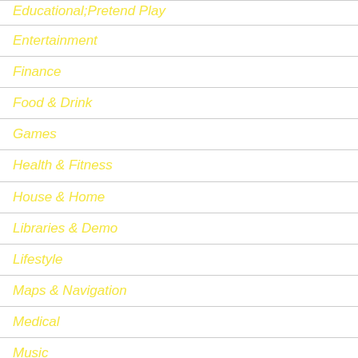Educational;Pretend Play
Entertainment
Finance
Food & Drink
Games
Health & Fitness
House & Home
Libraries & Demo
Lifestyle
Maps & Navigation
Medical
Music